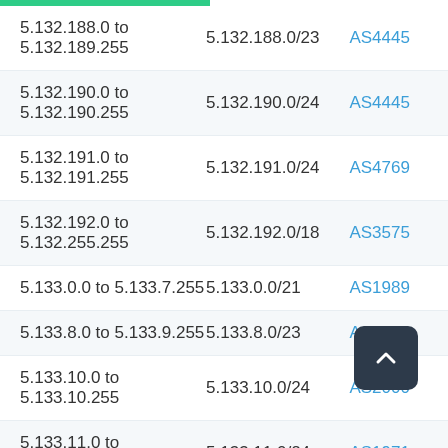| IP Range | CIDR | AS Number |
| --- | --- | --- |
| 5.132.188.0 to 5.132.189.255 | 5.132.188.0/23 | AS4445... |
| 5.132.190.0 to 5.132.190.255 | 5.132.190.0/24 | AS4445... |
| 5.132.191.0 to 5.132.191.255 | 5.132.191.0/24 | AS4769... |
| 5.132.192.0 to 5.132.255.255 | 5.132.192.0/18 | AS3575... |
| 5.133.0.0 to 5.133.7.255 | 5.133.0.0/21 | AS1989... |
| 5.133.8.0 to 5.133.9.255 | 5.133.8.0/23 | AS1971... |
| 5.133.10.0 to 5.133.10.255 | 5.133.10.0/24 | AS2000... |
| 5.133.11.0 to 5.133.11.255 | 5.133.11.0/24 | AS1971... |
| 5.133.12.0 to 5.133.15.255 | 5.133.12.0/22 | AS1971... |
| 5.133.16.0 to 5.133.23.255 | 5.133.16.0/21 | AS5939... |